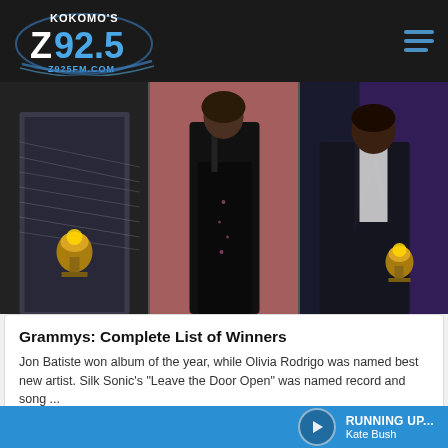Kokomo's Z92.5 Z925FM.COM
[Figure (photo): Three Grammy award ceremony photos: left panel shows a person in glittery outfit holding a Grammy trophy, middle panel shows a woman in black dress singing into microphone, right panel shows a person in dark suit holding a Grammy.]
Grammys: Complete List of Winners
Jon Batiste won album of the year, while Olivia Rodrigo was named best new artist. Silk Sonic's "Leave the Door Open" was named record and song ...
The Hollywood Reporter / Apr 3
Editorial credit: Kathy Hutchins / Shutterstock.com
RUNNING UP... Kate Bush